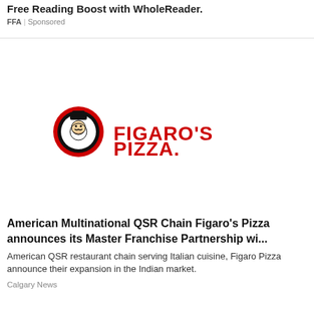Free Reading Boost with WholeReader.
FFA | Sponsored
[Figure (logo): Figaro's Pizza logo: circular black and red emblem with a chef face, followed by red bold text 'FIGARO'S PIZZA.' with a period]
American Multinational QSR Chain Figaro's Pizza announces its Master Franchise Partnership wi...
American QSR restaurant chain serving Italian cuisine, Figaro Pizza announce their expansion in the Indian market.
Calgary News